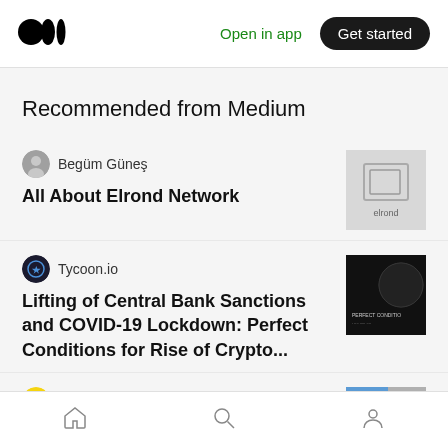[Figure (logo): Medium logo — three overlapping circles (black)]
Open in app
Get started
Recommended from Medium
Begüm Güneş
All About Elrond Network
[Figure (photo): Elrond network logo thumbnail — grey background with Elrond logo]
Tycoon.io
Lifting of Central Bank Sanctions and COVID-19 Lockdown: Perfect Conditions for Rise of Crypto...
[Figure (photo): Dark space/globe image with text 'Perfect Conditions']
Cartesi Foundation in Cartesi
[Figure (photo): Blue and person thumbnail for Cartesi article]